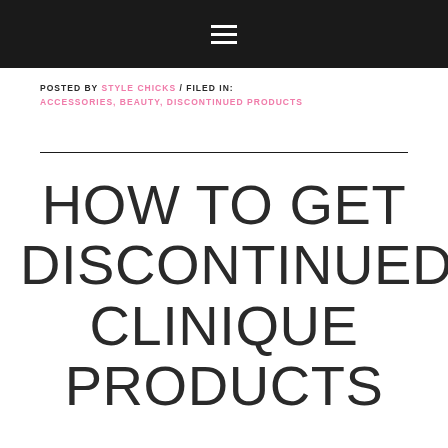≡
POSTED BY STYLE CHICKS / FILED IN: ACCESSORIES, BEAUTY, DISCONTINUED PRODUCTS
HOW TO GET DISCONTINUED CLINIQUE PRODUCTS